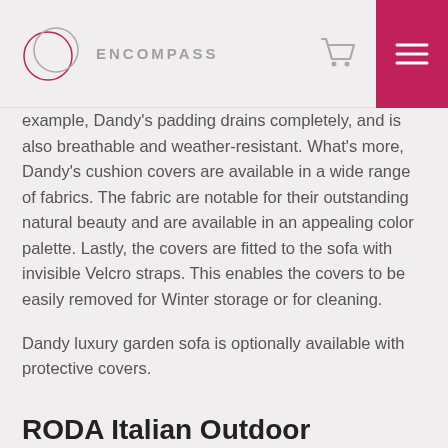ENCOMPASS
example, Dandy's padding drains completely, and is also breathable and weather-resistant. What's more, Dandy's cushion covers are available in a wide range of fabrics. The fabric are notable for their outstanding natural beauty and are available in an appealing color palette. Lastly, the covers are fitted to the sofa with invisible Velcro straps. This enables the covers to be easily removed for Winter storage or for cleaning.
Dandy luxury garden sofa is optionally available with protective covers.
RODA Italian Outdoor Furniture
RODA Italian outdoor furniture is synonymous with the